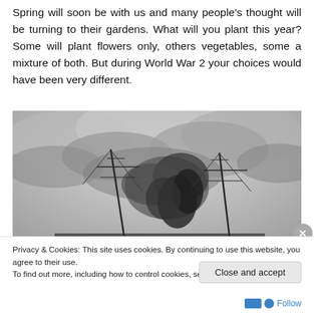Spring will soon be with us and many people's thought will be turning to their gardens. What will you plant this year? Some will plant flowers only, others vegetables, some a mixture of both. But during World War 2 your choices would have been very different.
[Figure (photo): Black and white photograph of a ship or ships with masts visible against a dramatic cloudy sky, with smoke or explosions visible — appears to be a World War 2 naval scene.]
Privacy & Cookies: This site uses cookies. By continuing to use this website, you agree to their use.
To find out more, including how to control cookies, see here: Cookie Policy
Close and accept